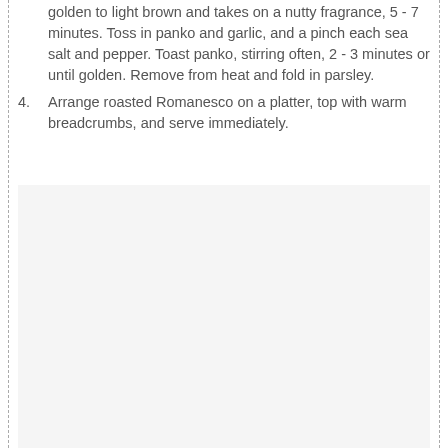golden to light brown and takes on a nutty fragrance, 5 - 7 minutes. Toss in panko and garlic, and a pinch each sea salt and pepper. Toast panko, stirring often, 2 - 3 minutes or until golden. Remove from heat and fold in parsley.
4. Arrange roasted Romanesco on a platter, top with warm breadcrumbs, and serve immediately.